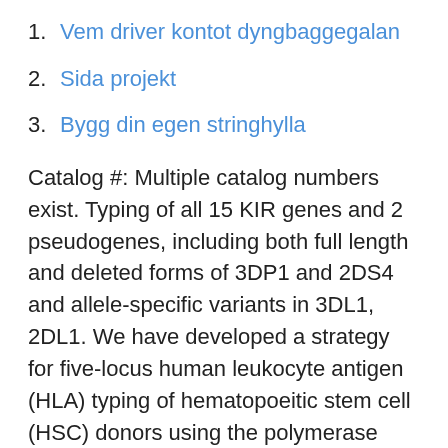1. Vem driver kontot dyngbaggegalan
2. Sida projekt
3. Bygg din egen stringhylla
Catalog #: Multiple catalog numbers exist. Typing of all 15 KIR genes and 2 pseudogenes, including both full length and deleted forms of 3DP1 and 2DS4 and allele-specific variants in 3DL1, 2DL1. We have developed a strategy for five-locus human leukocyte antigen (HLA) typing of hematopoeitic stem cell (HSC) donors using the polymerase chain reaction with sequence-specific primers (PCR-SSP). The PCR-SSP method is robust, reproducible, and accurate. Allele-level typing will provide clinical guidance for the HLA-A,B,C Class I